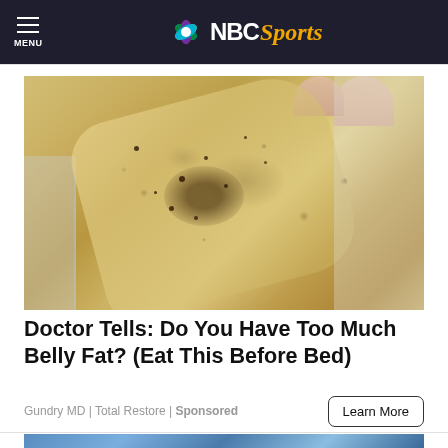NBC Sports
[Figure (photo): Close-up photo of a translucent gel/food substance with dark speckles, held between fingers over a glass bowl]
Doctor Tells: Do You Have Too Much Belly Fat? (Eat This Before Bed)
Gundry MD | Total Restore | Sponsored
Learn More
[Figure (photo): Partial view of another image at the bottom of the page]